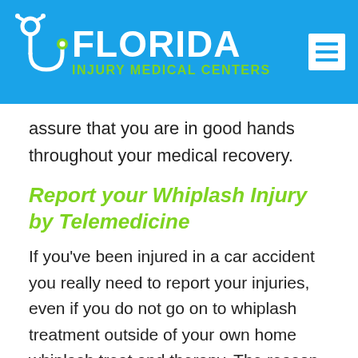[Figure (logo): Florida Injury Medical Centers logo with stethoscope icon on blue header bar with hamburger menu icon]
assure that you are in good hands throughout your medical recovery.
Report your Whiplash Injury by Telemedicine
If you've been injured in a car accident you really need to report your injuries, even if you do not go on to whiplash treatment outside of your own home whiplash treat and therapy. The reason it is so important for you